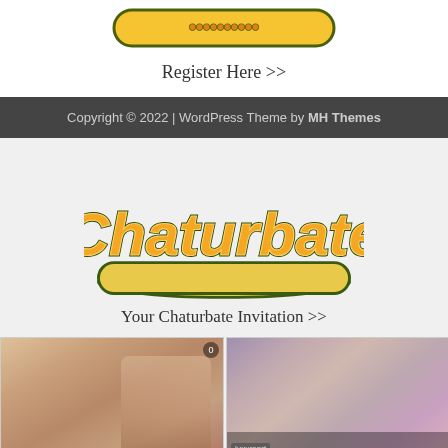[Figure (logo): Partially visible website logo at top, yellow/gold banner with dark border]
Register Here >>
Copyright © 2022 | WordPress Theme by MH Themes
[Figure (logo): Chaturbate logo - orange and yellow script lettering with dark green outline on yellow banner]
Your Chaturbate Invitation >>
[Figure (screenshot): Two webcam thumbnail cards side by side. Left card: blonde woman, username ourwhitesecret, 19 viewers, 'horny monday! deepthroat =50 tk☆ spin the wheel=43 tk'. Right card: person showing feet, username luxureart, 27 viewers, '🎤sloppy queen🎤 🍆suck suck suck🍑🍑 #bigass #cum #lovense']